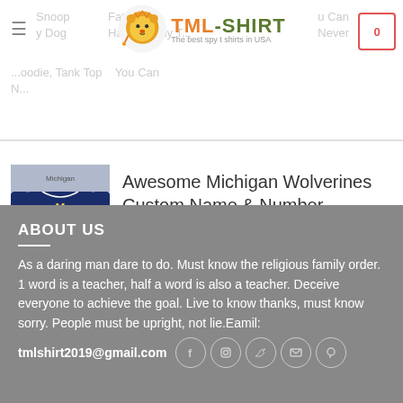[Figure (logo): TML-SHIRT logo with lion icon and tagline 'The best spy t shirts in USA']
Snoop y Dog  Father...u Can Never Have To...ny T...oodie, Tank Top  You Can N...
[Figure (photo): Michigan Wolverines custom ugly Christmas sweater product image]
Awesome Michigan Wolverines Custom Name & Number Personalized Ugly Christmas Sweater
ABOUT US
As a daring man dare to do. Must know the religious family order. 1 word is a teacher, half a word is also a teacher. Deceive everyone to achieve the goal. Live to know thanks, must know sorry. People must be upright, not lie.Eamil: tmlshirt2019@gmail.com